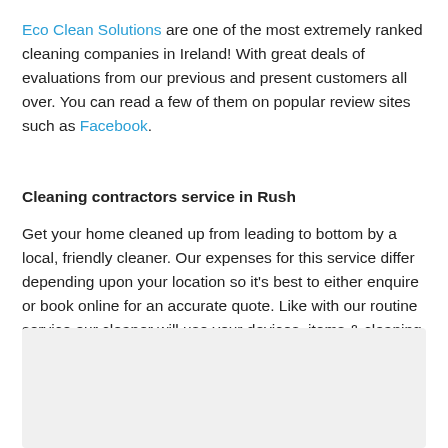Eco Clean Solutions are one of the most extremely ranked cleaning companies in Ireland! With great deals of evaluations from our previous and present customers all over. You can read a few of them on popular review sites such as Facebook.
Cleaning contractors service in Rush
Get your home cleaned up from leading to bottom by a local, friendly cleaner. Our expenses for this service differ depending upon your location so it's best to either enquire or book online for an accurate quote. Like with our routine service our cleaner will use your devices, items & cleaning products.
[Figure (other): Grey box with green phone call button (circular green button with white phone handset icon)]